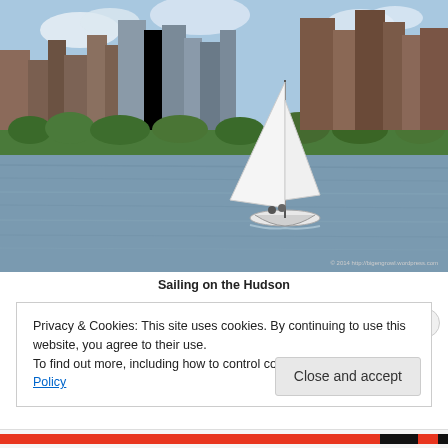[Figure (photo): A sailboat on the Hudson River with the New York City skyline (buildings, skyscrapers) in the background. The photo has a watermark in the lower right: '© 2014 http://bigengrowl.wordpress.com'. White sail visible, water is blue-grey, sky is partly cloudy.]
Sailing on the Hudson
Privacy & Cookies: This site uses cookies. By continuing to use this website, you agree to their use.
To find out more, including how to control cookies, see here: Cookie Policy
Close and accept